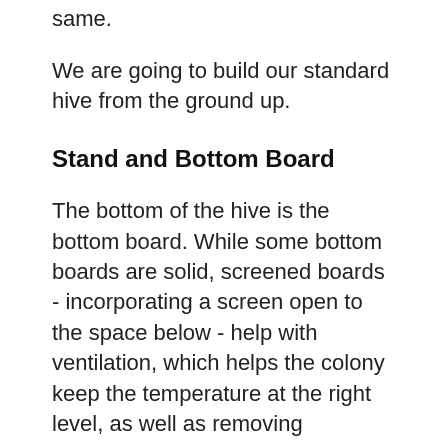same.
We are going to build our standard hive from the ground up.
Stand and Bottom Board
The bottom of the hive is the bottom board. While some bottom boards are solid, screened boards - incorporating a screen open to the space below - help with ventilation, which helps the colony keep the temperature at the right level, as well as removing